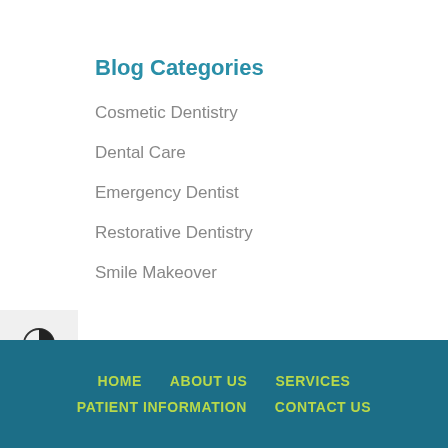Blog Categories
Cosmetic Dentistry
Dental Care
Emergency Dentist
Restorative Dentistry
Smile Makeover
HOME   ABOUT US   SERVICES   PATIENT INFORMATION   CONTACT US